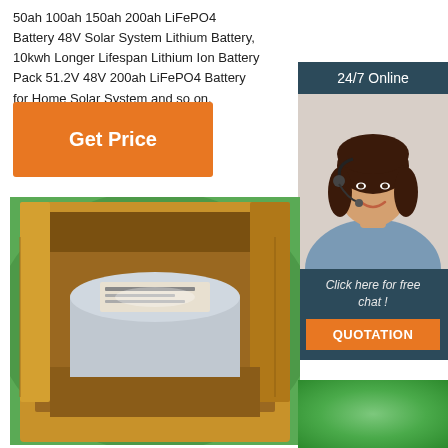50ah 100ah 150ah 200ah LiFePO4 Battery 48V Solar System Lithium Battery, 10kwh Longer Lifespan Lithium Ion Battery Pack 51.2V 48V 200ah LiFePO4 Battery for Home Solar System and so on.
Get Price
[Figure (photo): Customer service representative with headset, labeled '24/7 Online' with 'Click here for free chat!' and 'QUOTATION' button in orange]
[Figure (photo): Photo of a cylindrical LiFePO4 battery inside an open cardboard box with green background visible]